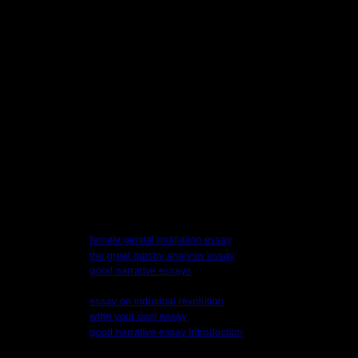female genital mutilation essay
the great gatsby analysis essay
good narrative essays
essay on industrial revolution
write your own essay
good narrative essay introduction